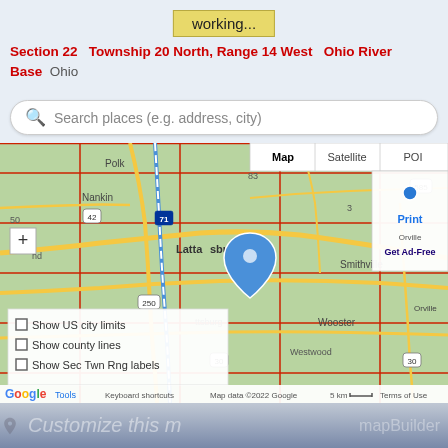working...
Section 22  Township 20 North, Range 14 West  Ohio River Base  Ohio
Search places (e.g. address, city)
[Figure (map): Google Map showing Lattasburg, Ohio area with Section 22, Township 20 North, Range 14 West marked with a blue pin. Shows towns including Polk, Nankin, Lattasburg, Smithville, Wooster, Westwood. Map controls include Map/Satellite/POI tabs, zoom, print, and layer toggles.]
Show US city limits
Show county lines
Show Sec Twn Rng labels
Customize this map
mapBuilder